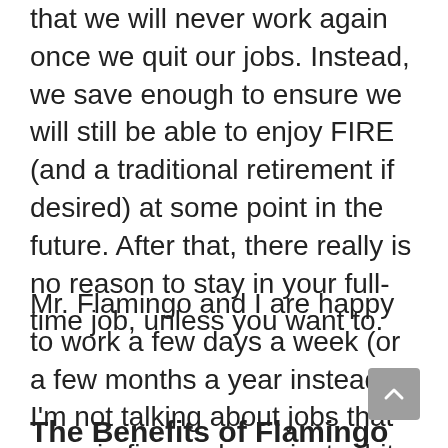that we will never work again once we quit our jobs. Instead, we save enough to ensure we will still be able to enjoy FIRE (and a traditional retirement if desired) at some point in the future. After that, there really is no reason to stay in your full-time job, unless you want to.
Mr. Flamingo and I are happy to work a few days a week (or a few months a year instead). I'm not talking about jobs that pay six-figures here, just a bit of income on the side.
The Benefits of Flamingo FI